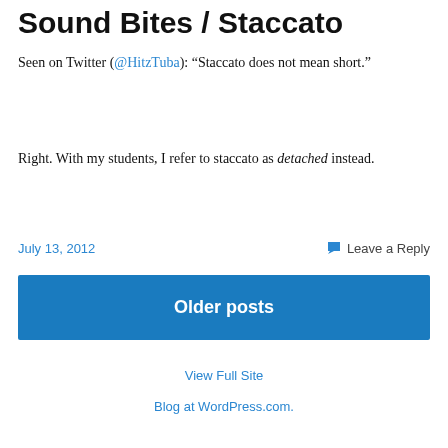Sound Bites / Staccato
Seen on Twitter (@HitzTuba): “Staccato does not mean short.”
Right. With my students, I refer to staccato as detached instead.
July 13, 2012
Leave a Reply
Older posts
View Full Site
Blog at WordPress.com.